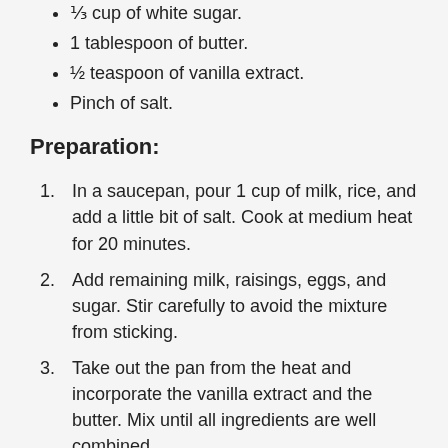⅓ cup of white sugar.
1 tablespoon of butter.
½ teaspoon of vanilla extract.
Pinch of salt.
Preparation:
In a saucepan, pour 1 cup of milk, rice, and add a little bit of salt. Cook at medium heat for 20 minutes.
Add remaining milk, raisings, eggs, and sugar. Stir carefully to avoid the mixture from sticking.
Take out the pan from the heat and incorporate the vanilla extract and the butter. Mix until all ingredients are well combined.